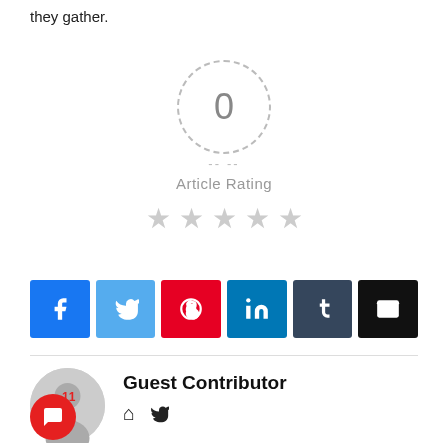they gather.
[Figure (other): Article rating widget showing 0 rating in a dashed circle with 5 empty stars below and 'Article Rating' label]
[Figure (other): Social share buttons: Facebook, Twitter, Pinterest, LinkedIn, Tumblr, Email]
Guest Contributor with home and Twitter icon links, with avatar placeholder and chat/comment count of 11